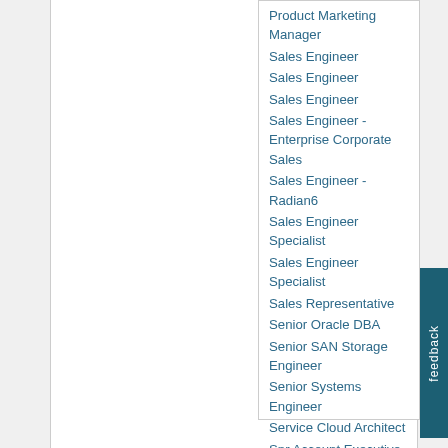Product Marketing Manager
Sales Engineer
Sales Engineer
Sales Engineer
Sales Engineer - Enterprise Corporate Sales
Sales Engineer - Radian6
Sales Engineer Specialist
Sales Engineer Specialist
Sales Representative
Senior Oracle DBA
Senior SAN Storage Engineer
Senior Systems Engineer
Service Cloud Architect
Snr Account Executive
Social Architect / Sales Engineer
Social Architect / Sales Engineer
Solutions Engagement Manager
Technical Architect
Technical Architect